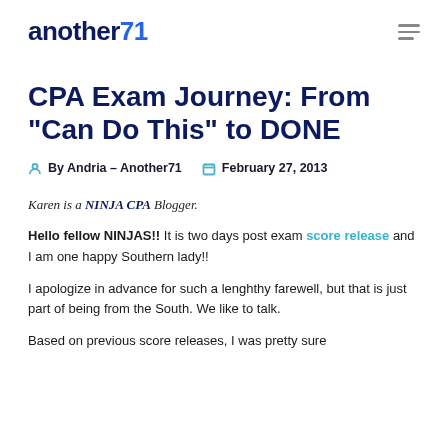another71
CPA Exam Journey: From “Can Do This” to DONE
By Andria - Another71   February 27, 2013
Karen is a NINJA CPA Blogger.
Hello fellow NINJAS!! It is two days post exam score release and I am one happy Southern lady!!
I apologize in advance for such a lenghthy farewell, but that is just part of being from the South. We like to talk.
Based on previous score releases, I was pretty sure